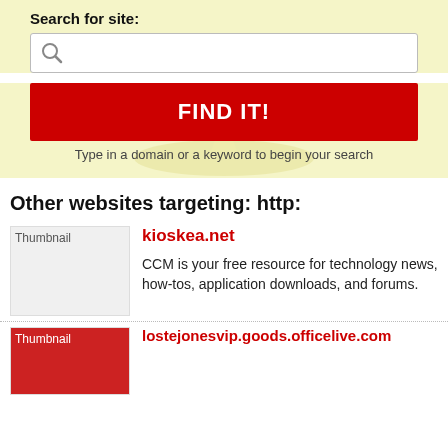Search for site:
[Figure (screenshot): Search input box with magnifying glass icon]
[Figure (screenshot): Red FIND IT! button]
Type in a domain or a keyword to begin your search
Other websites targeting: http:
[Figure (screenshot): Thumbnail placeholder image for kioskea.net]
kioskea.net
CCM is your free resource for technology news, how-tos, application downloads, and forums.
[Figure (screenshot): Thumbnail placeholder image for lostejonesvip.goods.officelive.com]
lostejonesvip.goods.officelive.com